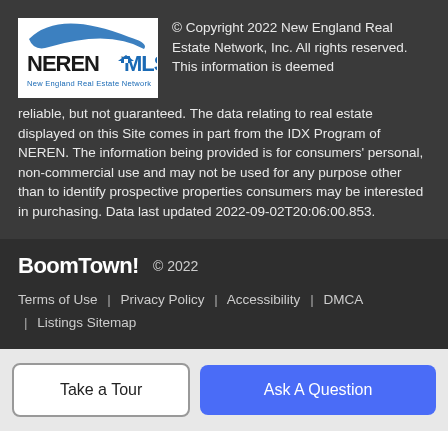[Figure (logo): NEREN MLS - New England Real Estate Network logo, white background with blue swoosh and black/blue text]
© Copyright 2022 New England Real Estate Network, Inc. All rights reserved. This information is deemed reliable, but not guaranteed. The data relating to real estate displayed on this Site comes in part from the IDX Program of NEREN. The information being provided is for consumers' personal, non-commercial use and may not be used for any purpose other than to identify prospective properties consumers may be interested in purchasing. Data last updated 2022-09-02T20:06:00.853.
BoomTown! © 2022
Terms of Use | Privacy Policy | Accessibility | DMCA | Listings Sitemap
Take a Tour
Ask A Question